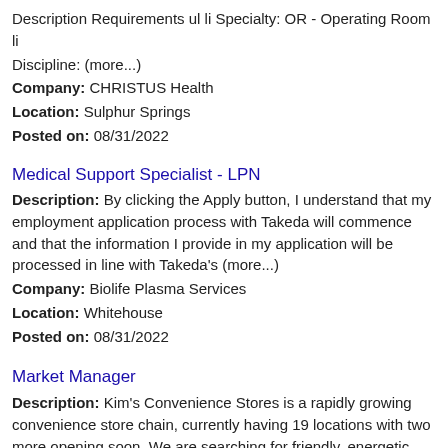Description Requirements ul li Specialty: OR - Operating Room li Discipline: (more...)
Company: CHRISTUS Health
Location: Sulphur Springs
Posted on: 08/31/2022
Medical Support Specialist - LPN
Description: By clicking the Apply button, I understand that my employment application process with Takeda will commence and that the information I provide in my application will be processed in line with Takeda's (more...)
Company: Biolife Plasma Services
Location: Whitehouse
Posted on: 08/31/2022
Market Manager
Description: Kim's Convenience Stores is a rapidly growing convenience store chain, currently having 19 locations with two more opening soon. We are searching for friendly, energetic, and highly motivated candidates (more...)
Company: Kim s Convenience Stores Inc
Location: Flint
Posted on: 08/31/2022